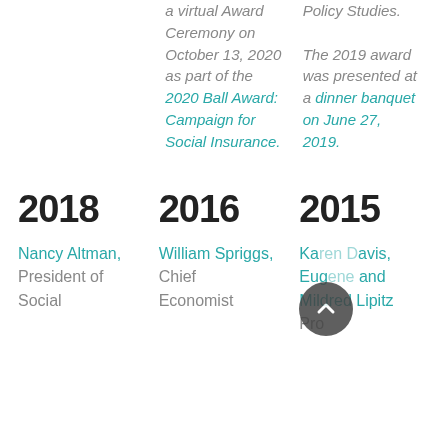a virtual Award Ceremony on October 13, 2020 as part of the 2020 Ball Award: Campaign for Social Insurance.
Policy Studies. The 2019 award was presented at a dinner banquet on June 27, 2019.
2018
2016
2015
Nancy Altman, President of Social
William Spriggs, Chief Economist
Karen Davis, Eugene and Mildred Lipitz Professor